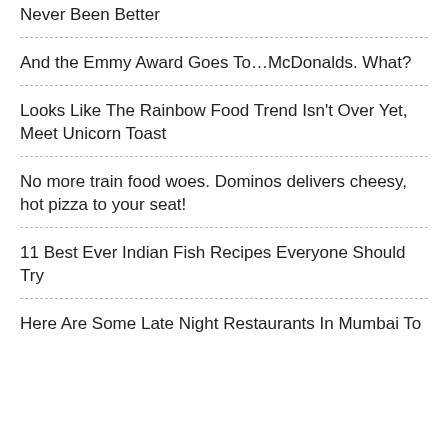Never Been Better
And the Emmy Award Goes To…McDonalds. What?
Looks Like The Rainbow Food Trend Isn't Over Yet, Meet Unicorn Toast
No more train food woes. Dominos delivers cheesy, hot pizza to your seat!
11 Best Ever Indian Fish Recipes Everyone Should Try
Here Are Some Late Night Restaurants In Mumbai To